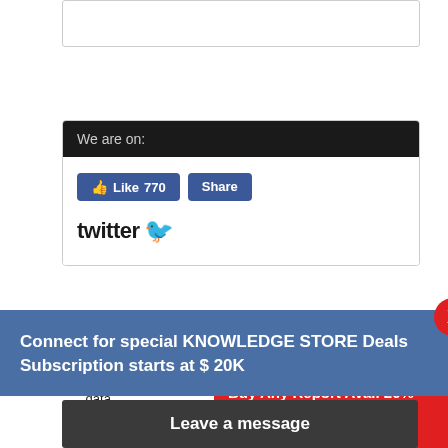[Figure (screenshot): Top white outlined box, partially visible at page top]
We are on:
[Figure (screenshot): Facebook Like (770) and Share buttons, and Twitter logo with bird icon]
[Figure (screenshot): Partially visible dark header bar for a second section]
Top Fortune 500 Organizations trusted for research data.
24/7 support on call as well as emails.
Your Details are safe with us.
Free support for your research requirements.
Delivery:
U
U
[Figure (screenshot): Blue popup overlay: Connect for special KNOWLEDGE STORE Deals Subscription starts at $ 20K]
[Figure (screenshot): Dark gray bar: Request For Sample Of This Report with X close button]
[Figure (screenshot): Dark gray popup: Leave a message]
[Figure (screenshot): Red popup: Buy Any Report Avail 20% Code:]